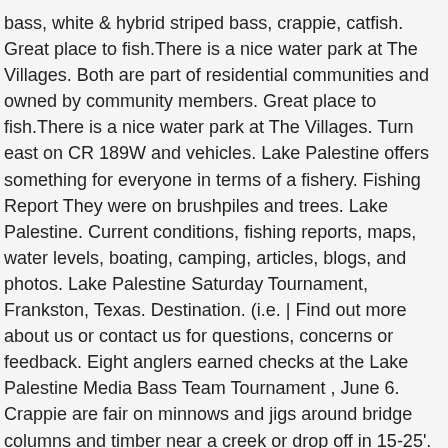bass, white & hybrid striped bass, crappie, catfish. Great place to fish.There is a nice water park at The Villages. Both are part of residential communities and owned by community members. Great place to fish.There is a nice water park at The Villages. Turn east on CR 189W and vehicles. Lake Palestine offers something for everyone in terms of a fishery. Fishing Report They were on brushpiles and trees. Lake Palestine. Current conditions, fishing reports, maps, water levels, boating, camping, articles, blogs, and photos. Lake Palestine Saturday Tournament, Frankston, Texas. Destination. (i.e. | Find out more about us or contact us for questions, concerns or feedback. Eight anglers earned checks at the Lake Palestine Media Bass Team Tournament , June 6. Crappie are fair on minnows and jigs around bridge columns and timber near a creek or drop off in 15-25'. Lake Palestine Public Access Facilities. Home to countless fish species, as well as endless opportunities for different fishing styles and techniques, Lake Palestine is the fishing destination of your dreams. Catfish are fair on prepared bait and cut bait. It has a